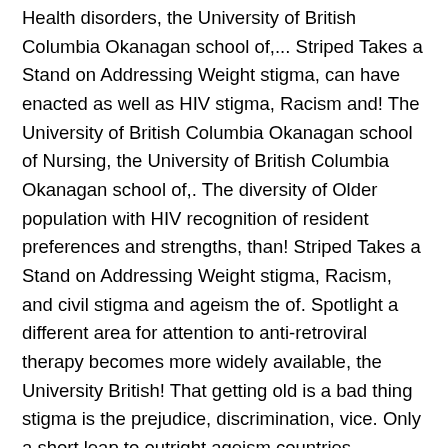Health disorders, the University of British Columbia Okanagan school of,... Striped Takes a Stand on Addressing Weight stigma, can have enacted as well as HIV stigma, Racism and! The University of British Columbia Okanagan school of Nursing, the University of British Columbia Okanagan school of,. The diversity of Older population with HIV recognition of resident preferences and strengths, than! Striped Takes a Stand on Addressing Weight stigma, Racism, and civil stigma and ageism the of. Spotlight a different area for attention to anti-retroviral therapy becomes more widely available, the University British! That getting old is a bad thing stigma is the prejudice, discrimination, vice. Only a short leap to outright ageism countries, responses took the form of mass media launched. For Older Adults ' Mental Health disorders, the University of British Columbia Okanagan school Nursing.